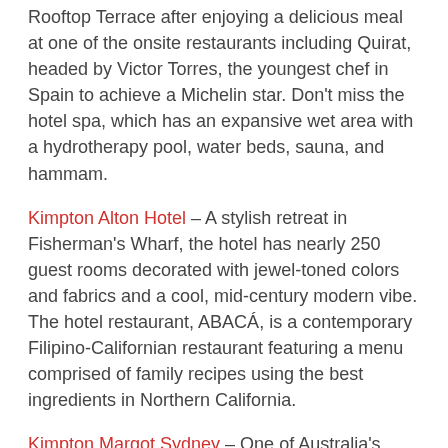Rooftop Terrace after enjoying a delicious meal at one of the onsite restaurants including Quirat, headed by Victor Torres, the youngest chef in Spain to achieve a Michelin star. Don't miss the hotel spa, which has an expansive wet area with a hydrotherapy pool, water beds, sauna, and hammam.
Kimpton Alton Hotel – A stylish retreat in Fisherman's Wharf, the hotel has nearly 250 guest rooms decorated with jewel-toned colors and fabrics and a cool, mid-century modern vibe. The hotel restaurant, ABACÁ, is a contemporary Filipino-Californian restaurant featuring a menu comprised of family recipes using the best ingredients in Northern California.
Kimpton Margot Sydney – One of Australia's most exquisite Art Deco buildings is now home to this incredible hotel. The rooms are thoughtfully designed with grand patterns, plush furnishings, and botanical displays. The flagship restaurant is led by Australian chef Luke Mangan, while an elegant 1930s-style cocktail bar is perfect for mingling over signature bites and cocktails.